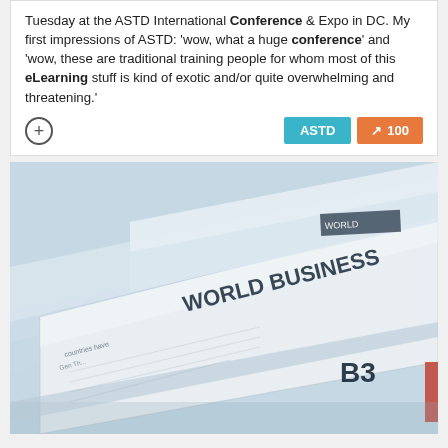Tuesday at the ASTD International Conference & Expo in DC. My first impressions of ASTD: 'wow, what a huge conference' and 'wow, these are traditional training people for whom most of this eLearning stuff is kind of exotic and/or quite overwhelming and threatening.'
[Figure (photo): Stack of newspapers fanned out, showing headlines including WORLD BUSINESS and section marker B3, shot at an angle with shallow depth of field, blue-grey tones]